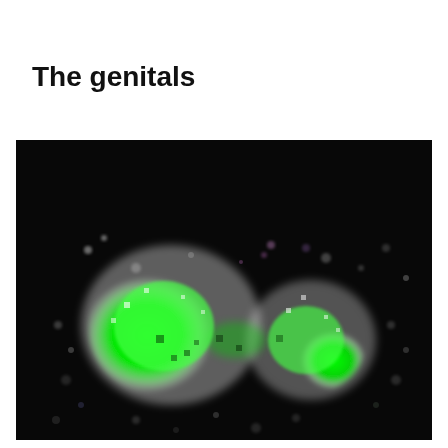The genitals
[Figure (photo): Fluorescence microscopy image showing genitals region with bright green fluorescent signal on a dark/black background, with white halo around the green area and scattered white/purple fluorescent spots throughout the dark field.]